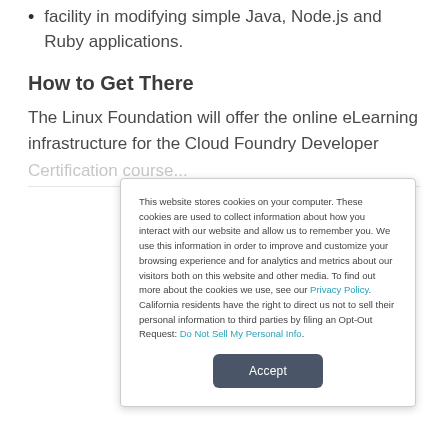facility in modifying simple Java, Node.js and Ruby applications.
How to Get There
The Linux Foundation will offer the online eLearning infrastructure for the Cloud Foundry Developer
This website stores cookies on your computer. These cookies are used to collect information about how you interact with our website and allow us to remember you. We use this information in order to improve and customize your browsing experience and for analytics and metrics about our visitors both on this website and other media. To find out more about the cookies we use, see our Privacy Policy. California residents have the right to direct us not to sell their personal information to third parties by filing an Opt-Out Request: Do Not Sell My Personal Info.